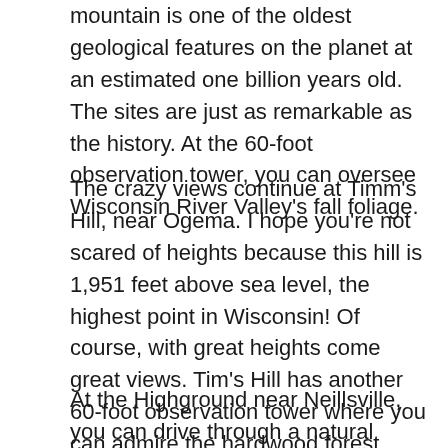mountain is one of the oldest geological features on the planet at an estimated one billion years old. The sites are just as remarkable as the history. At the 60-foot observation tower, you can oversee Wisconsin River Valley's fall foliage.
The crazy views continue at Timm's Hill, near Ogema. I hope you're not scared of heights because this hill is 1,951 feet above sea level, the highest point in Wisconsin! Of course, with great heights come great views. Tim's Hill has another 60-foot observation tower where you can admire the hardwood forest trees and scampering wildlife.
At the Highground near Neillsville, you can drive through a natural paradise that highlights the colorful hillside and glacial moraines of Wisconsin